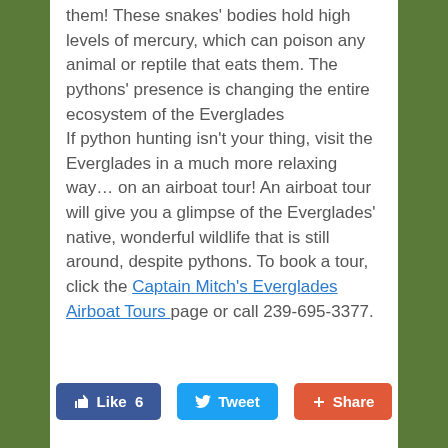them! These snakes' bodies hold high levels of mercury, which can poison any animal or reptile that eats them. The pythons' presence is changing the entire ecosystem of the Everglades
If python hunting isn't your thing, visit the Everglades in a much more relaxing way… on an airboat tour! An airboat tour will give you a glimpse of the Everglades' native, wonderful wildlife that is still around, despite pythons. To book a tour, click the Captain Mitch's Everglades Airboat Tours  page or call 239-695-3377.
[Figure (other): Social share buttons: Facebook Like (6), Twitter Tweet, Google+ Share]